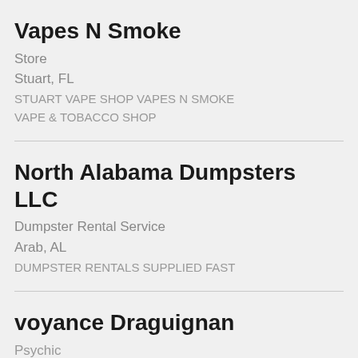Vapes N Smoke
Store
Stuart, FL
STUART VAPE SHOP VAPES N SMOKE VAPE & TOBACCO SHOP
North Alabama Dumpsters LLC
Dumpster Rental Service
Arab, AL
DUMPSTER RENTALS SUPPLIED FAST
voyance Draguignan
Psychic